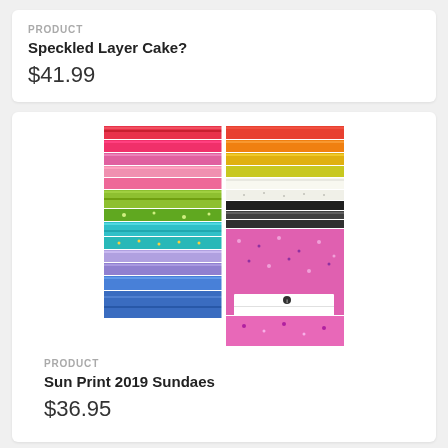PRODUCT
Speckled Layer Cake?
$41.99
[Figure (photo): Colorful stacked fabric layer cake bundle showing multiple patterned fabrics in pink, red, orange, yellow, green, teal, purple, blue, black, white, and pink floral patterns arranged in two columns]
PRODUCT
Sun Print 2019 Sundaes
$36.95